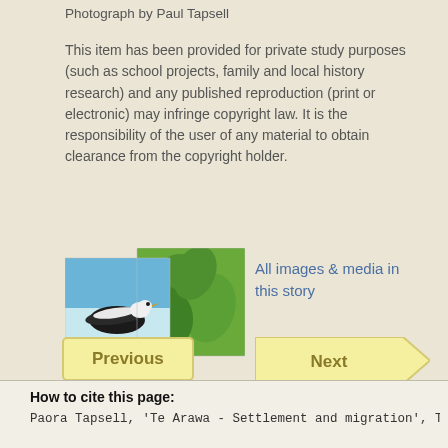Photograph by Paul Tapsell
This item has been provided for private study purposes (such as school projects, family and local history research) and any published reproduction (print or electronic) may infringe copyright law. It is the responsibility of the user of any material to obtain clearance from the copyright holder.
[Figure (photo): Thumbnail images of a bird and green leaves representing all images and media in this story]
All images & media in this story
Previous
Next
How to cite this page:
Paora Tapsell, 'Te Arawa - Settlement and migration', Te Ara - the Encyclopedia of New Zealand, http://www.TeAra.govt.nz/en/photograph/1519/hatupatu-and-kurangaituku